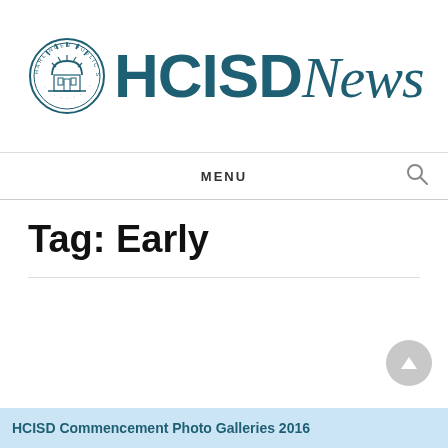[Figure (logo): HCISD News website header with Harlingen Public Schools seal and HCISD News brand text in teal color]
MENU
Tag: Early
HCISD Commencement Photo Galleries 2016